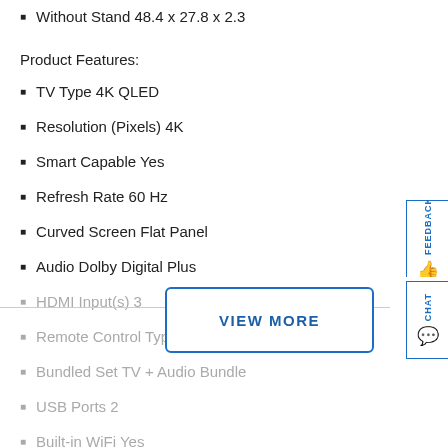Without Stand 48.4 x 27.8 x 2.3
Product Features:
TV Type 4K QLED
Resolution (Pixels) 4K
Smart Capable Yes
Refresh Rate 60 Hz
Curved Screen Flat Panel
Audio Dolby Digital Plus
HDMI Input(s) 3
Remote Control Type Smart Remote
Bundled Set TV + Audio Bundle
USB Ports 2
Built-in WiFi Yes